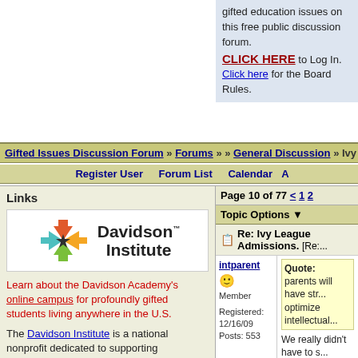gifted issues discussion forum - top right box: gifted education issues on this free public discussion forum. CLICK HERE to Log In. Click here for the Board Rules.
Gifted Issues Discussion Forum » Forums » » General Discussion » Ivy Leag...
Register User   Forum List   Calendar   A
Links
[Figure (logo): Davidson Institute logo with colorful star/arrows graphic and Davidson Institute text]
Learn about the Davidson Academy's online campus for profoundly gifted students living anywhere in the U.S.
The Davidson Institute is a national nonprofit dedicated to supporting profoundly gifted
Page 10 of 77 < 1 2
Topic Options ▼
Re: Ivy League Admissions. [Re:...
intparent
Member
Registered: 12/16/09
Posts: 553
Quote:
parents will have str... optimize intellectual...
We really didn't have to s... pretty much on the mark... bowl player in our state (... went to THINK for two su... on her FIRST Robotic...